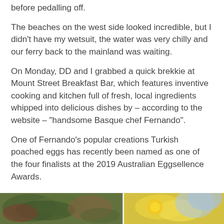before pedalling off.
The beaches on the west side looked incredible, but I didn't have my wetsuit, the water was very chilly and our ferry back to the mainland was waiting.
On Monday, DD and I grabbed a quick brekkie at Mount Street Breakfast Bar, which features inventive cooking and kitchen full of fresh, local ingredients whipped into delicious dishes by – according to the website – "handsome Basque chef Fernando".
One of Fernando's popular creations Turkish poached eggs has recently been named as one of the four finalists at the 2019 Australian Eggsellence Awards.
[Figure (photo): Two food photos side by side — left shows a dish with greens/salad, right shows a yellow/egg-based dish with blue background]